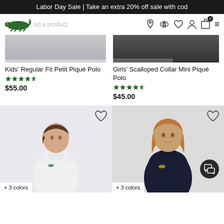Labor Day Sale | Take an extra 20% off sale with cod
[Figure (screenshot): Lacoste website navigation bar with crocodile logo, search field placeholder, location pin icon, eye icon, heart icon, profile icon, shopping bag icon with badge '0', and hamburger menu]
Kids' Regular Fit Petit Piqué Polo
[Figure (other): 4.5 star rating stars in green]
$55.00
Girls' Scalloped Collar Mini Piqué Polo
[Figure (other): 4.5 star rating stars in green]
$45.00
[Figure (photo): Girl wearing white Lacoste polo shirt, with heart wishlist icon top right and '+ 3 colors' label at bottom]
[Figure (photo): Girl wearing navy blue Lacoste polo shirt, with heart wishlist icon top right, chat bubble icon, and '+ 3 colors' label at bottom]